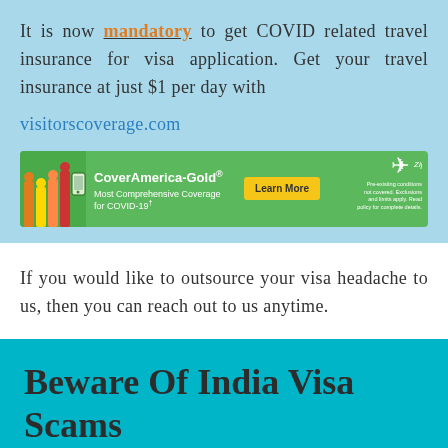It is now mandatory to get COVID related travel insurance for visa application. Get your travel insurance at just $1 per day with visitorscoverage.com
[Figure (infographic): CoverAmerica-Gold advertisement banner on green background. Text: CoverAmerica-Gold® Most Comprehensive Coverage for COVID-19. Learn More button. Airplane icon on right side with disclaimer text.]
If you would like to outsource your visa headache to us, then you can reach out to us anytime.
Beware Of India Visa Scams